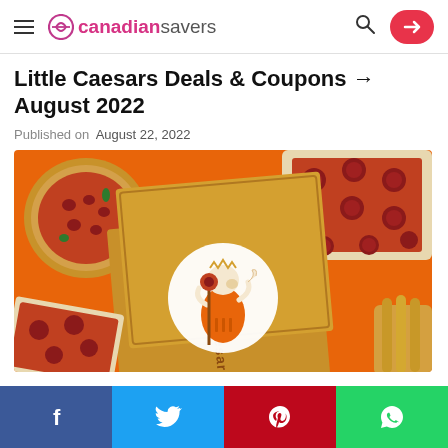canadiansavers
Little Caesars Deals & Coupons → August 2022
Published on  August 22, 2022
[Figure (photo): Little Caesars branded orange pizza box open showing the Little Caesars mascot logo, surrounded by various pizzas and breadsticks on an orange background]
Facebook Twitter Pinterest WhatsApp social share bar